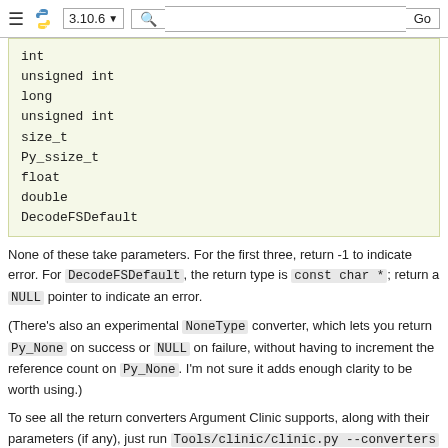3.10.6  [search]  Go
int
unsigned int
long
unsigned int
size_t
Py_ssize_t
float
double
DecodeFSDefault
None of these take parameters. For the first three, return -1 to indicate error. For DecodeFSDefault, the return type is const char *; return a NULL pointer to indicate an error.
(There's also an experimental NoneType converter, which lets you return Py_None on success or NULL on failure, without having to increment the reference count on Py_None. I'm not sure it adds enough clarity to be worth using.)
To see all the return converters Argument Clinic supports, along with their parameters (if any), just run Tools/clinic/clinic.py --converters for the full list.